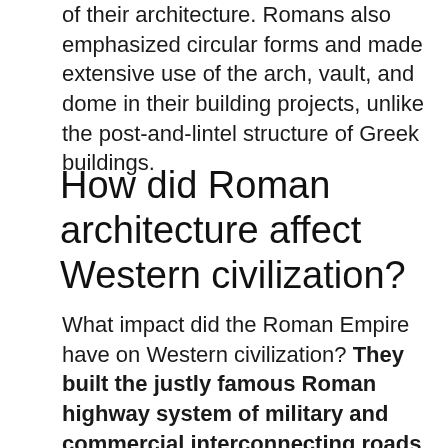of their architecture. Romans also emphasized circular forms and made extensive use of the arch, vault, and dome in their building projects, unlike the post-and-lintel structure of Greek buildings.
How did Roman architecture affect Western civilization?
What impact did the Roman Empire have on Western civilization? They built the justly famous Roman highway system of military and commercial interconnecting roads. The Romans built aqueducts, bridges, tunnels, public and private buildings of all kinds and for all purposes.